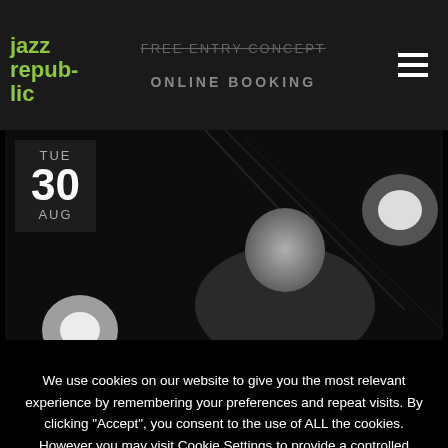[Figure (screenshot): Jazz Republic website navigation bar with logo, 'Free Entry Concept' text (struck through), 'ONLINE BOOKING' link, and hamburger menu icon]
[Figure (photo): Black and white concert photo of a jazz musician performing, with bokeh lights in background. Date overlay shows TUE 30 AUG]
We use cookies on our website to give you the most relevant experience by remembering your preferences and repeat visits. By clicking "Accept", you consent to the use of ALL the cookies. However you may visit Cookie Settings to provide a controlled consent.
Settings
Accept
You can refuse consent here.